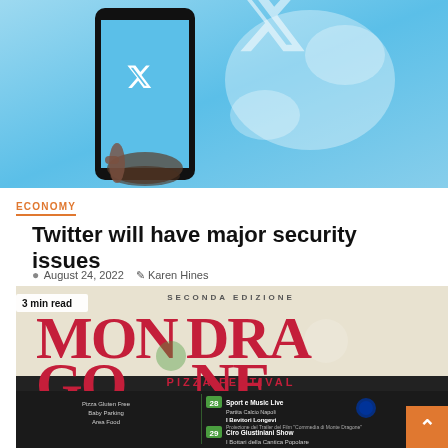[Figure (photo): Photo of a hand holding a smartphone displaying the Twitter bird logo on a blue screen, with a large blurred Twitter bird logo visible in the background, both on a light blue background.]
ECONOMY
Twitter will have major security issues
August 24, 2022   Karen Hines
[Figure (photo): Promotional image for Mondragone Pizza Festival - Seconda Edizione, showing pizza festival branding with large red text, event details including '28 Sport e Music Live / I Bevitori Longevi' and '29 Ciro Giustiniani Show / I Bottari della Cantica Popolare', with people and food images. A '3 min read' badge overlays the top left.]